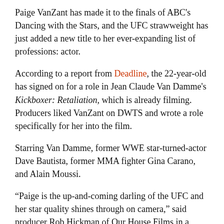Paige VanZant has made it to the finals of ABC's Dancing with the Stars, and the UFC strawweight has just added a new title to her ever-expanding list of professions: actor.
According to a report from Deadline, the 22-year-old has signed on for a role in Jean Claude Van Damme's Kickboxer: Retaliation, which is already filming. Producers liked VanZant on DWTS and wrote a role specifically for her into the film.
Starring Van Damme, former WWE star-turned-actor Dave Bautista, former MMA fighter Gina Carano, and Alain Moussi.
“Paige is the up-and-coming darling of the UFC and her star quality shines through on camera,” said producer Rob Hickman of Our House Films in a statement. “She’s a tremendous asset to the film both as an onscreen talent and as a [trained] fighter.”
Penick’s Analysis: VanZant’s star has risen greatly in the last few months with her success on DWTS, and with this taking her time up right after that concludes she’s going to be away